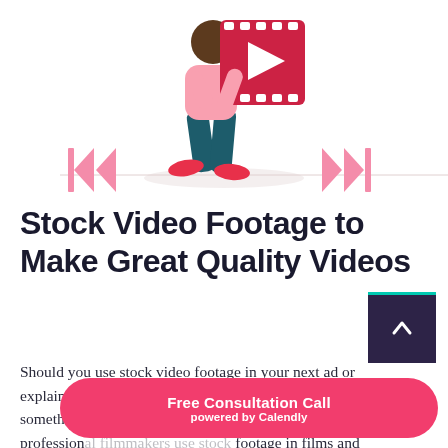[Figure (illustration): Flat vector illustration of a person carrying a large film clapper/video play icon. Pink rewind arrows on the left and fast-forward arrows on the right, on a horizontal line, white background.]
Stock Video Footage to Make Great Quality Videos
Should you use stock video footage in your next ad or explainer video? Your first response might be, “no, we want something original.” But what if we told you many profession... footage in films and ... other video content? If used correctly, it